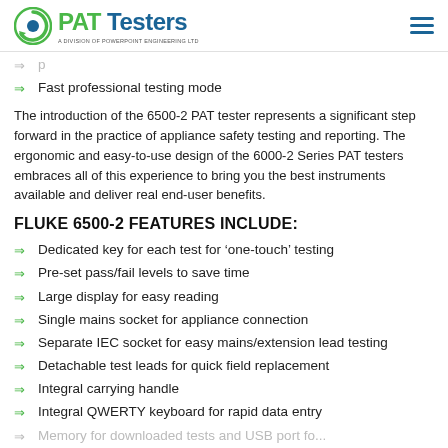PAT Testers - A Division of Powerpoint Engineering Ltd
Fast professional testing mode
The introduction of the 6500-2 PAT tester represents a significant step forward in the practice of appliance safety testing and reporting. The ergonomic and easy-to-use design of the 6000-2 Series PAT testers embraces all of this experience to bring you the best instruments available and deliver real end-user benefits.
FLUKE 6500-2 FEATURES INCLUDE:
Dedicated key for each test for ‘one-touch’ testing
Pre-set pass/fail levels to save time
Large display for easy reading
Single mains socket for appliance connection
Separate IEC socket for easy mains/extension lead testing
Detachable test leads for quick field replacement
Integral carrying handle
Integral QWERTY keyboard for rapid data entry
Memory for downloaded tests and USB port for...